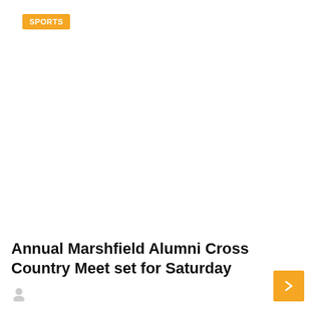SPORTS
Annual Marshfield Alumni Cross Country Meet set for Saturday